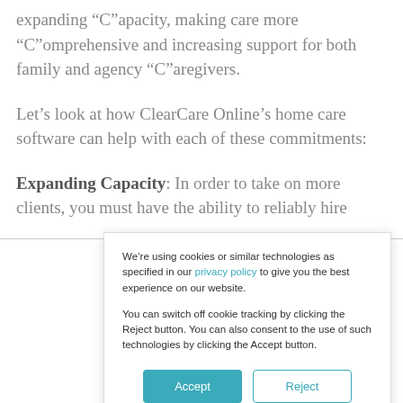expanding “C”apacity, making care more “C”omprehensive and increasing support for both family and agency “C”aregivers.
Let’s look at how ClearCare Online’s home care software can help with each of these commitments:
Expanding Capacity: In order to take on more clients, you must have the ability to reliably hire
We’re using cookies or similar technologies as specified in our privacy policy to give you the best experience on our website.

You can switch off cookie tracking by clicking the Reject button. You can also consent to the use of such technologies by clicking the Accept button.